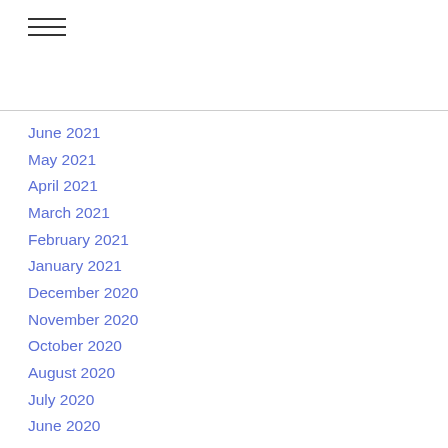≡
June 2021
May 2021
April 2021
March 2021
February 2021
January 2021
December 2020
November 2020
October 2020
August 2020
July 2020
June 2020
May 2020
April 2020
March 2020
February 2020
January 2020